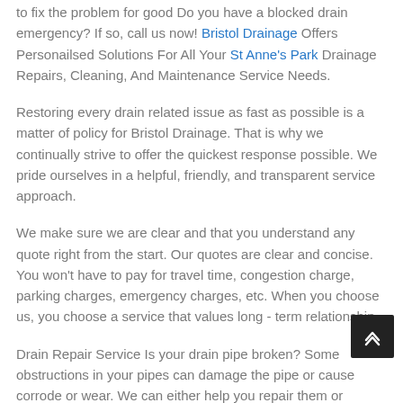to fix the problem for good Do you have a blocked drain emergency? If so, call us now! Bristol Drainage Offers Personailsed Solutions For All Your St Anne's Park Drainage Repairs, Cleaning, And Maintenance Service Needs.
Restoring every drain related issue as fast as possible is a matter of policy for Bristol Drainage. That is why we continually strive to offer the quickest response possible. We pride ourselves in a helpful, friendly, and transparent service approach.
We make sure we are clear and that you understand any quote right from the start. Our quotes are clear and concise. You won't have to pay for travel time, congestion charge, parking charges, emergency charges, etc. When you choose us, you choose a service that values long - term relationship.
Drain Repair Service Is your drain pipe broken? Some obstructions in your pipes can damage the pipe or cause it to corrode or wear. We can either help you repair them or replace